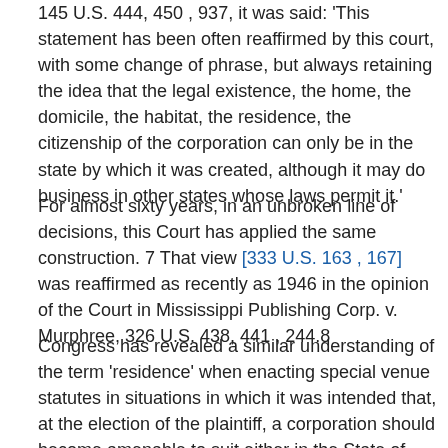145 U.S. 444, 450 , 937, it was said: 'This statement has been often reaffirmed by this court, with some change of phrase, but always retaining the idea that the legal existence, the home, the domicile, the habitat, the residence, the citizenship of the corporation can only be in the state by which it was created, although it may do business in other states whose laws permit it.'
For almost sixty years, in an unbroken line of decisions, this Court has applied the same construction. 7 That view [333 U.S. 163 , 167] was reaffirmed as recently as 1946 in the opinion of the Court in Mississippi Publishing Corp. v. Murphree, 326 U.S. 438, 441 , 244.8
Congress has revealed a similar understanding of the term 'residence' when enacting special venue statutes in situations in which it was intended that, at the election of the plaintiff, a corporation should become amenable to suit either in the State of incorporation or in States in which it is